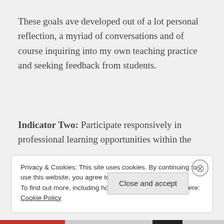These goals ave developed out of a lot personal reflection, a myriad of conversations and of course inquiring into my own teaching practice and seeking feedback from students.
Indicator Two: Participate responsively in professional learning opportunities within the
Privacy & Cookies: This site uses cookies. By continuing to use this website, you agree to their use.
To find out more, including how to control cookies, see here: Cookie Policy